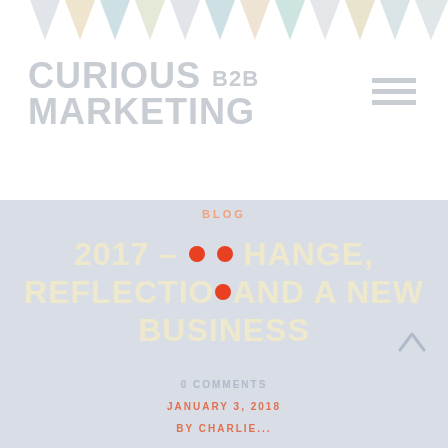[Figure (illustration): Decorative colorful pennant/flag banner at top of page in pastel colors]
CURIOUS B2B MARKETING
[Figure (illustration): Hamburger menu icon (three horizontal lines) in top right corner]
BLOG
2017 – CHANGE, REFLECTION AND A NEW BUSINESS
0 COMMENTS
JANUARY 3, 2018
BY CHARLIE...
[Figure (illustration): Upward pointing caret/chevron arrow for scroll to top]